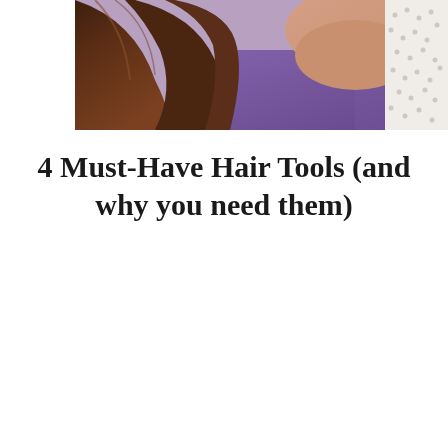[Figure (photo): A person with brown hair viewed from behind/side, wearing a purple top, with a white lace fabric visible. Close-up lifestyle photo related to hair.]
4 Must-Have Hair Tools (and why you need them)